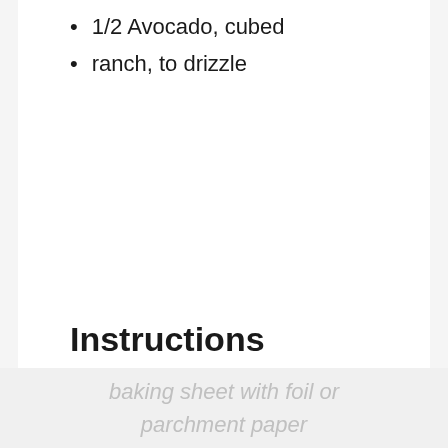1/2 Avocado, cubed
ranch, to drizzle
Instructions
1. Preheat oven to 375. Line a baking sheet with foil or parchment paper